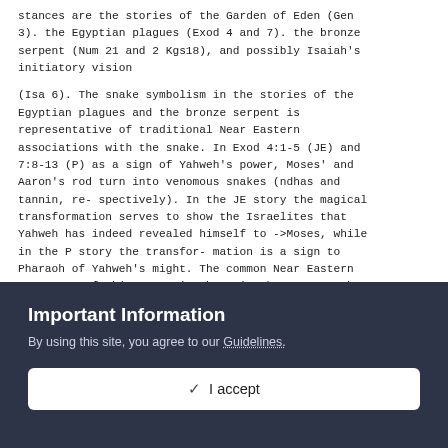stances are the stories of the Garden of Eden (Gen 3). the Egyptian plagues (Exod 4 and 7). the bronze serpent (Num 21 and 2 Kgs18), and possibly Isaiah's initiatory vision
(Isa 6). The snake symbolism in the stories of the Egyptian plagues and the bronze serpent is representative of traditional Near Eastern associations with the snake. In Exod 4:1-5 (JE) and 7:8-13 (P) as a sign of Yahweh's power, Moses' and Aaron's rod turn into venomous snakes (ndhas and tannin, re- spectively). In the JE story the magical transformation serves to show the Israelites that Yahweh has indeed revealed himself to ->Moses, while in the P story the transfor- mation is a sign to Pharaoh of Yahweh's might. The common Near Eastern resonance of this scene is shown in the P story when
Important Information
By using this site, you agree to our Guidelines.
✓  I accept